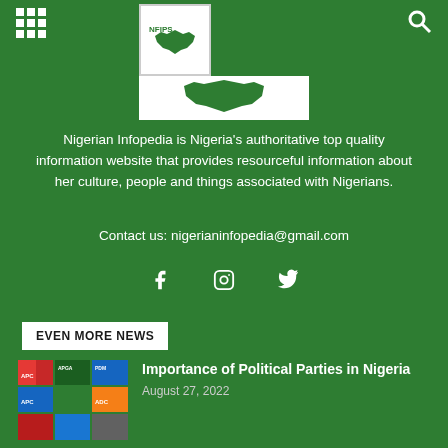[Figure (logo): Nigerian Infopedia logo — white box with Nigeria map shape in green, with banner below]
Nigerian Infopedia is Nigeria's authoritative top quality information website that provides resourceful information about her culture, people and things associated with Nigerians.
Contact us: nigerianinfopedia@gmail.com
[Figure (other): Social media icons: Facebook, Instagram, Twitter]
EVEN MORE NEWS
[Figure (photo): Grid of Nigerian political party logos: APC, APGA, PDM, APC, green party, ADC, and others]
Importance of Political Parties in Nigeria
August 27, 2022